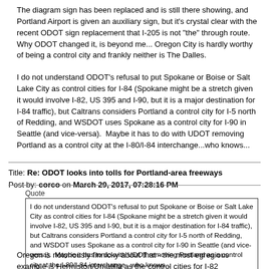The diagram sign has been replaced and is still there showing, and Portland Airport is given an auxiliary sign, but it's crystal clear with the recent ODOT sign replacement that I-205 is not "the" through route.  Why ODOT changed it, is beyond me... Oregon City is hardly worthy of being a control city and frankly neither is The Dalles.
I do not understand ODOT's refusal to put Spokane or Boise or Salt Lake City as control cities for I-84 (Spokane might be a stretch given it would involve I-82, US 395 and I-90, but it is a major destination for I-84 traffic), but Caltrans considers Portland a control city for I-5 north of Redding, and WSDOT uses Spokane as a control city for I-90 in Seattle (and vice-versa).  Maybe it has to do with UDOT removing Portland as a control city at the I-80/I-84 interchange...who knows...
Title: Re: ODOT looks into tolls for Portland-area freeways
Post by: corco on March 29, 2017, 07:28:16 PM
Quote
I do not understand ODOT's refusal to put Spokane or Boise or Salt Lake City as control cities for I-84 (Spokane might be a stretch given it would involve I-82, US 395 and I-90, but it is a major destination for I-84 traffic), but Caltrans considers Portland a control city for I-5 north of Redding, and WSDOT uses Spokane as a control city for I-90 in Seattle (and vice-versa).  Maybe it has to do with UDOT removing Portland as a control city at the I-80/I-84 interchange...who knows...
Oregon is notoriously finnicky about that - the most egregious example is Hermiston/Umatilla as the control cities for I-82